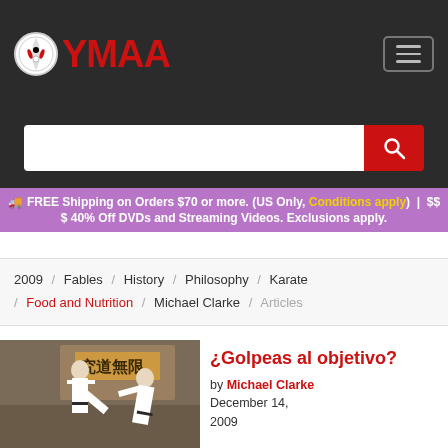YMAA
FREE Shipping on Orders $70 or more. (US Only, Conditions apply) | $$ $ 40% Off DVDs and Streaming Videos. Exclusions apply.
2009 / Fables / History / Philosophy / Karate / Food and Nutrition / Michael Clarke / Articles
[Figure (photo): Two karate practitioners in white gi and black belts sparring in a dojo with Japanese calligraphy on the wall]
¿Golpeas al objetivo?
by Michael Clarke
December 14, 2009